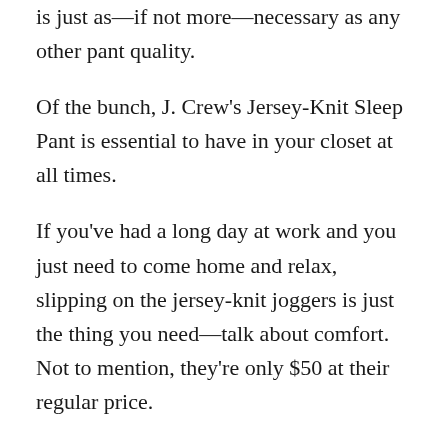is just as—if not more—necessary as any other pant quality.
Of the bunch, J. Crew's Jersey-Knit Sleep Pant is essential to have in your closet at all times.
If you've had a long day at work and you just need to come home and relax, slipping on the jersey-knit joggers is just the thing you need—talk about comfort. Not to mention, they're only $50 at their regular price.
And, if you're looking for something a bit more mainstream, the Slim-Fit Performance Sweat Pant joggers are perfect, from lounging on the couch to lifting at the gym.